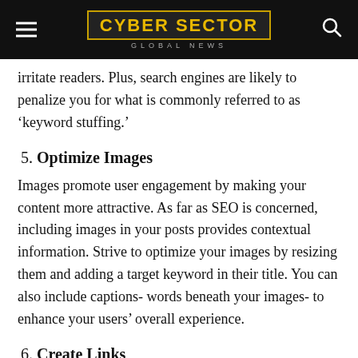CYBER SECTOR GLOBAL NEWS
irritate readers. Plus, search engines are likely to penalize you for what is commonly referred to as ‘keyword stuffing.’
5. Optimize Images
Images promote user engagement by making your content more attractive. As far as SEO is concerned, including images in your posts provides contextual information. Strive to optimize your images by resizing them and adding a target keyword in their title. You can also include captions- words beneath your images- to enhance your users’ overall experience.
6. Create Links
Be sure to link your post to other pieces or web pages on your website. Doing so makes it easier to navigate related content,